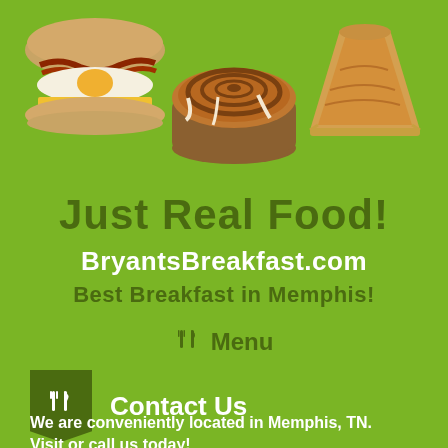[Figure (photo): Three food photos: a breakfast sandwich with bacon and egg, a cinnamon roll, and a slice of pie on a green background]
Just Real Food!
BryantsBreakfast.com
Best Breakfast in Memphis!
Menu
Contact Us
We are conveniently located in Memphis, TN. Visit or call us today!